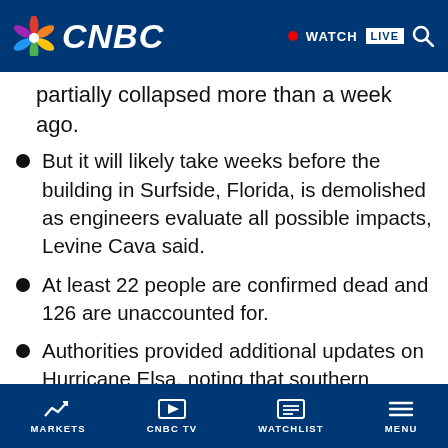CNBC — WATCH LIVE
partially collapsed more than a week ago.
But it will likely take weeks before the building in Surfside, Florida, is demolished as engineers evaluate all possible impacts, Levine Cava said.
At least 22 people are confirmed dead and 126 are unaccounted for.
Authorities provided additional updates on Hurricane Elsa, noting that southern Florida could see tropical storm-force winds as early
MARKETS   CNBC TV   WATCHLIST   MENU